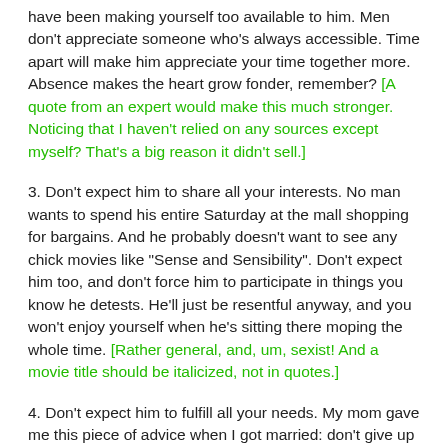have been making yourself too available to him. Men don't appreciate someone who's always accessible. Time apart will make him appreciate your time together more. Absence makes the heart grow fonder, remember? [A quote from an expert would make this much stronger. Noticing that I haven't relied on any sources except myself? That's a big reason it didn't sell.]
3. Don't expect him to share all your interests. No man wants to spend his entire Saturday at the mall shopping for bargains. And he probably doesn't want to see any chick movies like "Sense and Sensibility". Don't expect him too, and don't force him to participate in things you know he detests. He'll just be resentful anyway, and you won't enjoy yourself when he's sitting there moping the whole time. [Rather general, and, um, sexist! And a movie title should be italicized, not in quotes.]
4. Don't expect him to fulfill all your needs. My mom gave me this piece of advice when I got married: don't give up your women friends. We tend to expect our husbands and boyfriends to listen endlessly to all our problems. But guys